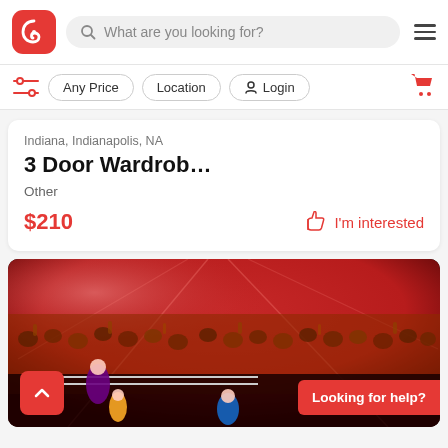[Figure (screenshot): App top navigation bar with red spiral logo, search bar reading 'What are you looking for?', and hamburger menu icon]
[Figure (screenshot): Filter bar with sliders icon, 'Any Price', 'Location', and 'Login' pill buttons, and red shopping cart icon]
Indiana, Indianapolis, NA
3 Door Wardrob…
Other
$210
I'm interested
[Figure (photo): Photo of wrestling action figures in a wrestling ring with a large crowd and red dramatic lighting in the background. A red 'back to top' arrow button is visible bottom-left, and a 'Looking for help?' red button is visible bottom-right.]